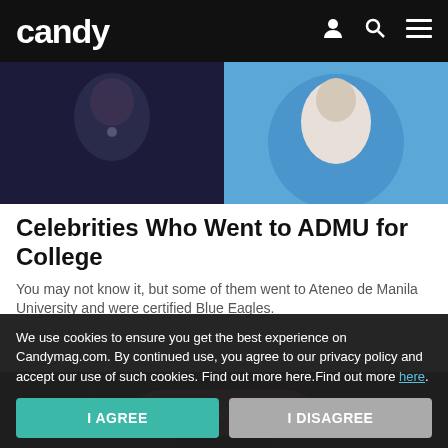candy
[Figure (photo): Two celebrity photos side by side: left shows a person in dark navy top with a necklace, right shows a person in white top on blue background]
Celebrities Who Went to ADMU for College
You may not know it, but some of them went to Ateneo de Manila University and were certified Blue Eagles.
Candy Mag
[Figure (photo): Partial photo of a person with dark hair in a brownish/dark setting]
Read on App
We use cookies to ensure you get the best experience on Candymag.com. By continued use, you agree to our privacy policy and accept our use of such cookies. Find out more here.Find out more here.
I AGREE
I DISAGREE